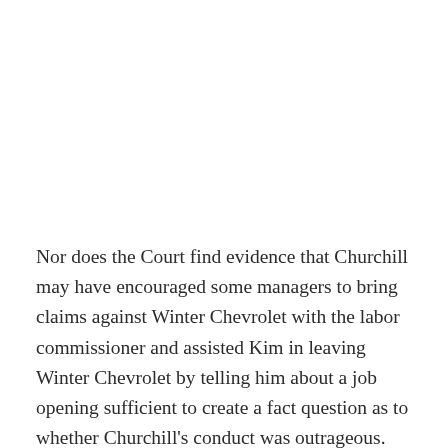Nor does the Court find evidence that Churchill may have encouraged some managers to bring claims against Winter Chevrolet with the labor commissioner and assisted Kim in leaving Winter Chevrolet by telling him about a job opening sufficient to create a fact question as to whether Churchill's conduct was outrageous. First, there is no evidence in the record the charges filed with the